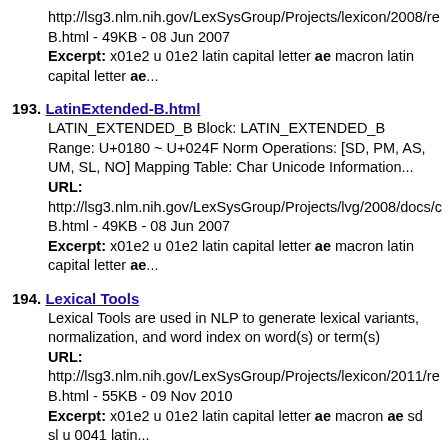http://lsg3.nlm.nih.gov/LexSysGroup/Projects/lexicon/2008/re B.html - 49KB - 08 Jun 2007 Excerpt: x01e2 u 01e2 latin capital letter ae macron latin capital letter ae...
193. LatinExtended-B.html LATIN_EXTENDED_B Block: LATIN_EXTENDED_B Range: U+0180 ~ U+024F Norm Operations: [SD, PM, AS, UM, SL, NO] Mapping Table: Char Unicode Information... URL: http://lsg3.nlm.nih.gov/LexSysGroup/Projects/lvg/2008/docs/c B.html - 49KB - 08 Jun 2007 Excerpt: x01e2 u 01e2 latin capital letter ae macron latin capital letter ae...
194. Lexical Tools Lexical Tools are used in NLP to generate lexical variants, normalization, and word index on word(s) or term(s) URL: http://lsg3.nlm.nih.gov/LexSysGroup/Projects/lexicon/2011/re B.html - 55KB - 09 Nov 2010 Excerpt: x01e2 u 01e2 latin capital letter ae macron ae sd sl u 0041 latin...
195. LatinExtended-B.html